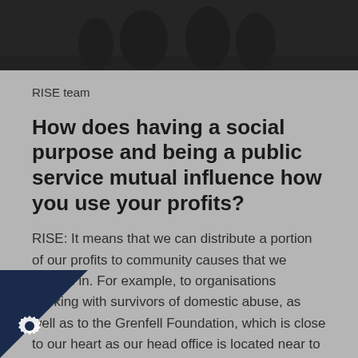[Figure (photo): Dark photograph of the RISE team, partially visible at the top of the page]
RISE team
How does having a social purpose and being a public service mutual influence how you use your profits?
RISE: It means that we can distribute a portion of our profits to community causes that we believe in. For example, to organisations working with survivors of domestic abuse, as well as to the Grenfell Foundation, which is close to our heart as our head office is located near to the Grenfell site. However, re-investing fits this way needs to be balanced